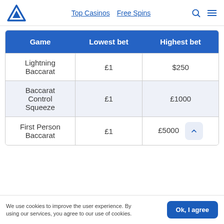Top Casinos  Free Spins
| Game | Lowest bet | Highest bet |
| --- | --- | --- |
| Lightning Baccarat | £1 | $250 |
| Baccarat Control Squeeze | £1 | £1000 |
| First Person Baccarat | £1 | £5000 |
We use cookies to improve the user experience. By using our services, you agree to our use of cookies.